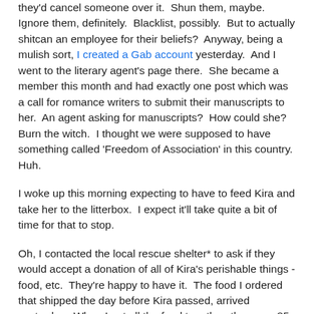they'd cancel someone over it.  Shun them, maybe.  Ignore them, definitely.  Blacklist, possibly.  But to actually shitcan an employee for their beliefs?  Anyway, being a mulish sort, I created a Gab account yesterday.  And I went to the literary agent's page there.  She became a member this month and had exactly one post which was a call for romance writers to submit their manuscripts to her.  An agent asking for manuscripts?  How could she?  Burn the witch.  I thought we were supposed to have something called 'Freedom of Association' in this country.  Huh.
I woke up this morning expecting to have to feed Kira and take her to the litterbox.  I expect it'll take quite a bit of time for that to stop.
Oh, I contacted the local rescue shelter* to ask if they would accept a donation of all of Kira's perishable things - food, etc.  They're happy to have it.  The food I ordered that shipped the day before Kira passed, arrived yesterday.  When I put all the food together, there are 85 cans worth - 48 new and the rest recently purchased to try and find something she would eat.  (The same thing happened at the end of Max's life.  Lots of cans left.  Which we gave to the vet